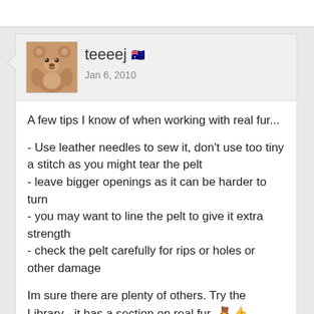teeeej 🇦🇺
Jan 6, 2010
A few tips I know of when working with real fur...

- Use leather needles to sew it, don't use too tiny a stitch as you might tear the pelt
- leave bigger openings as it can be harder to turn
- you may want to line the pelt to give it extra strength
- check the pelt carefully for rips or holes or other damage

Im sure there are plenty of others. Try the Library - it has a section on real fur. 🧸👍